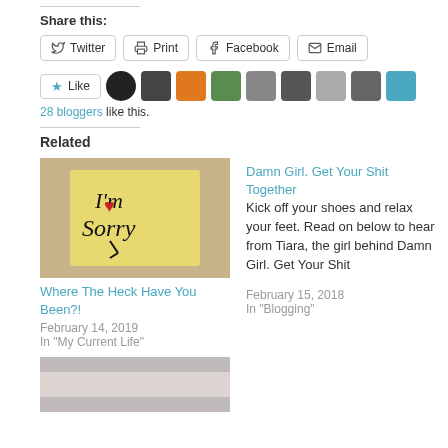Share this:
Twitter | Print | Facebook | Email
[Figure (other): Like button with star icon and 8 blogger avatar thumbnails]
28 bloggers like this.
Related
[Figure (photo): Yellow sticky note with 'I'm Sorry' written on it with a red heart]
Where The Heck Have You Been?!
February 14, 2019
In "My Current Life"
Damn Girl. Get Your Shit Together
Kick off your shoes and relax your feet. Read on below to hear from Tiara, the girl behind Damn Girl. Get Your Shit
February 15, 2018
In "Blogging"
[Figure (photo): Partial photo of a room interior at the bottom of the page]